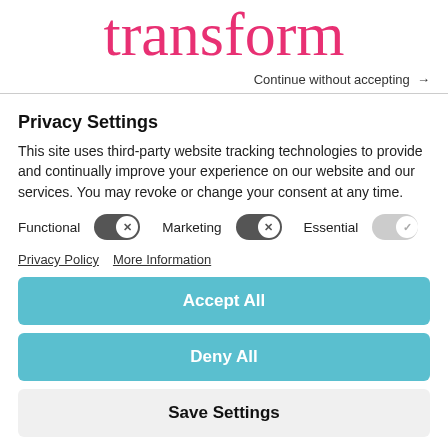transform
Continue without accepting →
Privacy Settings
This site uses third-party website tracking technologies to provide and continually improve your experience on our website and our services. You may revoke or change your consent at any time.
[Figure (infographic): Three toggle switches: Functional (off/dark), Marketing (off/dark), Essential (on/light grey)]
Privacy Policy   More Information
Accept All
Deny All
Save Settings
Powered by Usercentrics Consent Management